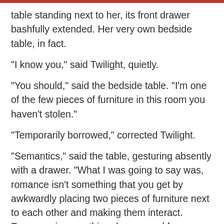table standing next to her, its front drawer bashfully extended. Her very own bedside table, in fact.
"I know you," said Twilight, quietly.
"You should," said the bedside table. "I'm one of the few pieces of furniture in this room you haven't stolen."
"Temporarily borrowed," corrected Twilight.
"Semantics," said the table, gesturing absently with a drawer. "What I was going to say was, romance isn't something that you get by awkwardly placing two pieces of furniture next to each other and making them interact. Romance is something deeper, and far more special, than that. It's not some sort of magic spark that happens all at once. It does depend on the feelings